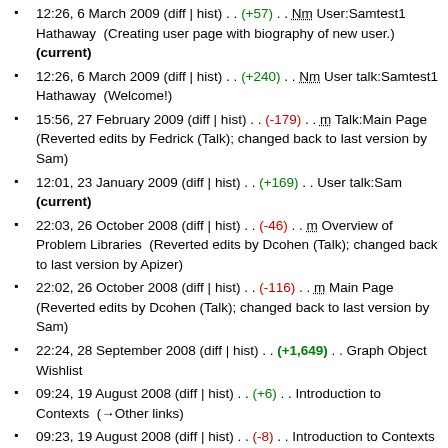12:26, 6 March 2009 (diff | hist) . . (+57) . . Nm User:Samtest1 Hathaway  (Creating user page with biography of new user.) (current)
12:26, 6 March 2009 (diff | hist) . . (+240) . . Nm User talk:Samtest1 Hathaway  (Welcome!)
15:56, 27 February 2009 (diff | hist) . . (-179) . . m Talk:Main Page  (Reverted edits by Fedrick (Talk); changed back to last version by Sam)
12:01, 23 January 2009 (diff | hist) . . (+169) . . User talk:Sam (current)
22:03, 26 October 2008 (diff | hist) . . (-46) . . m Overview of Problem Libraries  (Reverted edits by Dcohen (Talk); changed back to last version by Apizer)
22:02, 26 October 2008 (diff | hist) . . (-116) . . m Main Page (Reverted edits by Dcohen (Talk); changed back to last version by Sam)
22:24, 28 September 2008 (diff | hist) . . (+1,649) . . Graph Object Wishlist
09:24, 19 August 2008 (diff | hist) . . (+6) . . Introduction to Contexts  (→Other links)
09:23, 19 August 2008 (diff | hist) . . (-8) . . Introduction to Contexts
09:22, 19 August 2008 (diff | hist) . . (+7) . . Category:MathObjects
09:22, 19 August 2008 (diff | hist) . . (+6) . . Introduction to